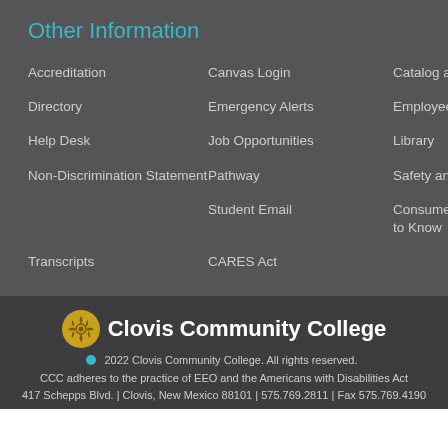Other Information
Accreditation
Canvas Login
Catalog and Schedules
Directory
Emergency Alerts
Employee Email
Help Desk
Job Opportunities
Library
Non-Discrimination Statement
Pathway
Safety and Security
Student Email
Consumer Info/Student Right to Know
Transcripts
CARES Act
Clovis Community College
© 2022 Clovis Community College. All rights reserved.
CCC adheres to the practice of EEO and the Americans with Disabilities Act
417 Schepps Blvd. | Clovis, New Mexico 88101 | 575.769.2811 | Fax 575.769.4190